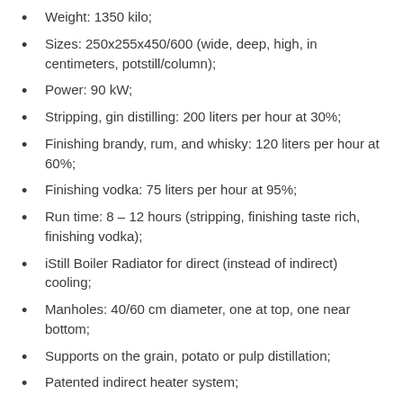Weight: 1350 kilo;
Sizes: 250x255x450/600 (wide, deep, high, in centimeters, potstill/column);
Power: 90 kW;
Stripping, gin distilling: 200 liters per hour at 30%;
Finishing brandy, rum, and whisky: 120 liters per hour at 60%;
Finishing vodka: 75 liters per hour at 95%;
Run time: 8 – 12 hours (stripping, finishing taste rich, finishing vodka);
iStill Boiler Radiator for direct (instead of indirect) cooling;
Manholes: 40/60 cm diameter, one at top, one near bottom;
Supports on the grain, potato or pulp distillation;
Patented indirect heater system;